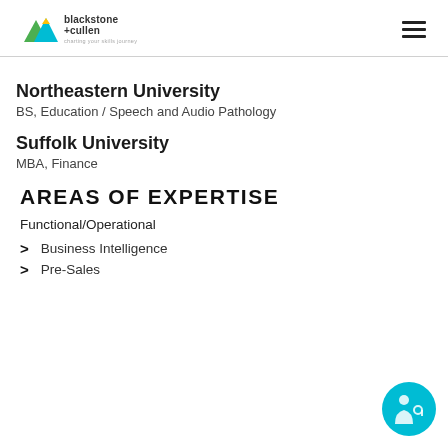blackstone+cullen — charting your skills journey
Northeastern University
BS, Education / Speech and Audio Pathology
Suffolk University
MBA, Finance
AREAS OF EXPERTISE
Functional/Operational
Business Intelligence
Pre-Sales